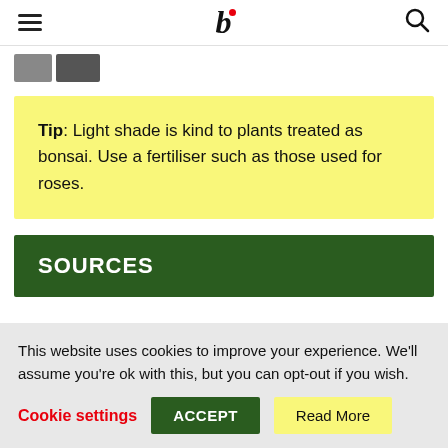b (logo with hamburger menu and search icon)
[Figure (photo): Two small thumbnail images shown at top left below header]
Tip: Light shade is kind to plants treated as bonsai. Use a fertiliser such as those used for roses.
SOURCES
This website uses cookies to improve your experience. We'll assume you're ok with this, but you can opt-out if you wish.
Cookie settings  ACCEPT  Read More